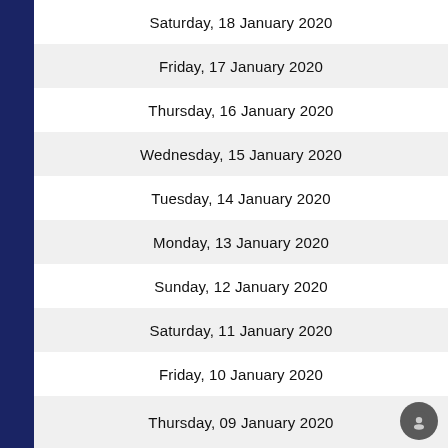Saturday, 18 January 2020
Friday, 17 January 2020
Thursday, 16 January 2020
Wednesday, 15 January 2020
Tuesday, 14 January 2020
Monday, 13 January 2020
Sunday, 12 January 2020
Saturday, 11 January 2020
Friday, 10 January 2020
Thursday, 09 January 2020